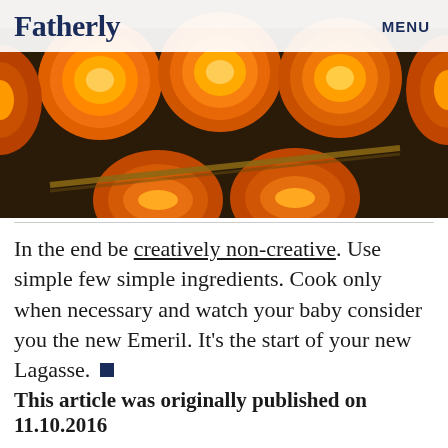Fatherly   MENU
[Figure (photo): Close-up photo of bright orange egg yolks in cracked eggshells arranged in a tray, with a wooden chopstick or utensil visible]
In the end be creatively non-creative. Use simple few simple ingredients. Cook only when necessary and watch your baby consider you the new Emeril. It's the start of your new Lagasse.
This article was originally published on 11.10.2016